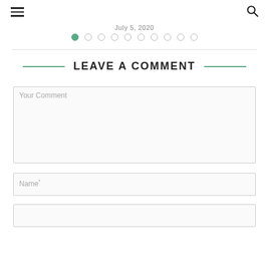≡  🔍
July 5, 2020
[Figure (other): Pagination dots row: 10 circles, first filled green, rest empty outlined]
LEAVE A COMMENT
Your Comment
Name*